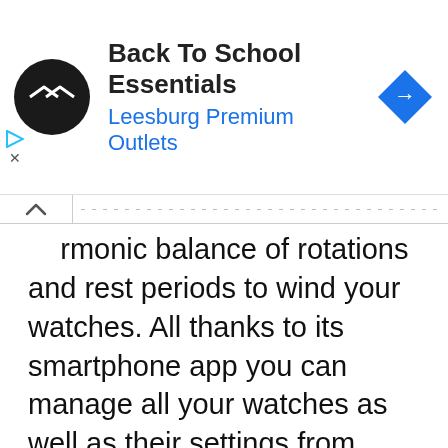[Figure (screenshot): Ad banner for Back To School Essentials at Leesburg Premium Outlets with circular logo and blue navigation arrow icon]
harmonic balance of rotations and rest periods to wind your watches. All thanks to its smartphone app you can manage all your watches as well as their settings from anywhere without much hassle.